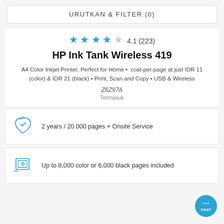URUTKAN & FILTER (0)
4.1 (223)
HP Ink Tank Wireless 419
A4 Color Inkjet Printer, Perfect for Home • cost-per-page at just IDR 11 (color) & IDR 21 (black) • Print, Scan and Copy • USB & Wireless
Z6Z97A
Termasuk
2 years / 20.000 pages + Onsite Service
Up to 8,000 color or 6,000 black pages included